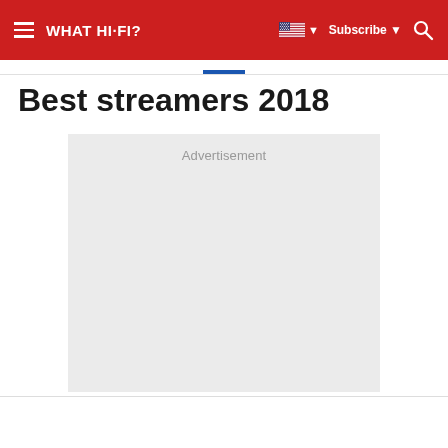WHAT HI-FI? | Subscribe | Search
Best streamers 2018
[Figure (other): Advertisement placeholder box with grey background and 'Advertisement' label text]